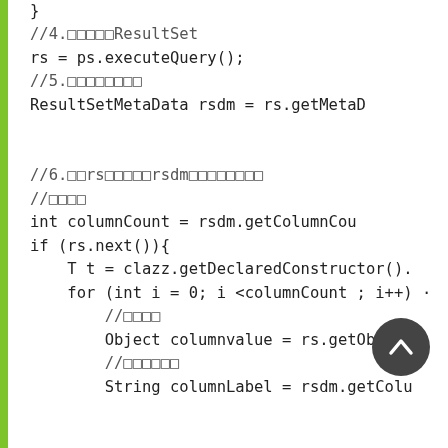[Figure (other): Green vertical bar on left edge of page]
//4.□□□□□ResultSet
rs = ps.executeQuery();
//5.□□□□□□□□
ResultSetMetaData rsdm = rs.getMetaD

//6.□□rs□□□□□rsdm□□□□□□□□
//□□□□
int columnCount = rsdm.getColumnCou
if (rs.next()){
    T t = clazz.getDeclaredConstructor().
    for (int i = 0; i <columnCount ; i++) ·
        //□□□□
        Object columnvalue = rs.getObjec
        //□□□□□□
        String columnLabel = rsdm.getColu